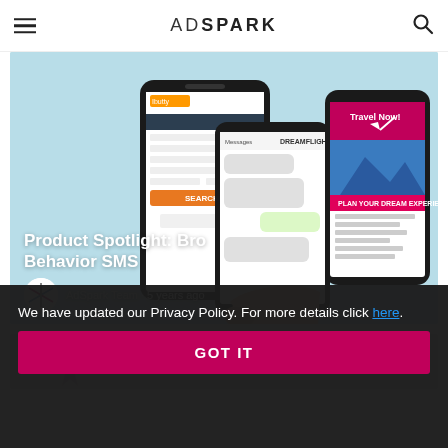ADSPARK
[Figure (screenshot): AdSpark website article page showing 'Product Spotlight: Browse Behavior SMS' with smartphone illustrations on a light blue background. Author shown as AdSpark Team, 5 years ago.]
Product Spotlight: Browse Behavior SMS
AdSpark Team · 5 years ago
[Figure (screenshot): Partial view of a second article card with THOUGHTSPARKERS watermark]
We have updated our Privacy Policy. For more details click here.
GOT IT